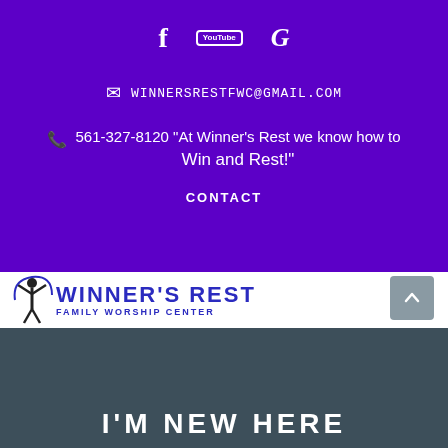[Figure (illustration): Social media icons: Facebook (f), YouTube (You Tube box), Google (G) on purple background]
WINNERSRESTFWC@GMAIL.COM
561-327-8120  "At Winner's Rest we know how to Win and Rest!"
CONTACT
[Figure (logo): Winner's Rest Family Worship Center logo with figure raising arms and blue text]
[Figure (illustration): Hamburger menu icon (three horizontal lines)]
[Figure (illustration): Back to top arrow button]
I'M NEW HERE